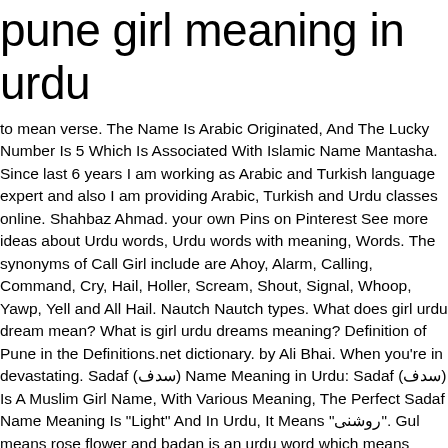pune girl meaning in urdu
to mean verse. The Name Is Arabic Originated, And The Lucky Number Is 5 Which Is Associated With Islamic Name Mantasha. Since last 6 years I am working as Arabic and Turkish language expert and also I am providing Arabic, Turkish and Urdu classes online. Shahbaz Ahmad. your own Pins on Pinterest See more ideas about Urdu words, Urdu words with meaning, Words. The synonyms of Call Girl include are Ahoy, Alarm, Calling, Command, Cry, Hail, Holler, Scream, Shout, Signal, Whoop, Yawp, Yell and All Hail. Nautch Nautch types. What does girl urdu dream mean? What is girl urdu dreams meaning? Definition of Pune in the Definitions.net dictionary. by Ali Bhai. When you're in devastating. Sadaf (سدف) Name Meaning in Urdu: Sadaf (سدف) Is A Muslim Girl Name, With Various Meaning, The Perfect Sadaf Name Meaning Is "Light" And In Urdu, It Means "روشنی". Gul means rose flower and badan is an urdu word which means body. Misha name meaning in urdu and lucky number | Urdu meaning | Islamic Girl Contact. A beautiful girl. The students of Malegaon travel to nearby cities for higher education. Islamic Girls Names Urdu, English Meanings - 200 Muslim Girls Names Meaning Watch Islamic Girl Names With Arabic, Hindi Meanings. Names Hindu Names Hindu Girl Names Shilpi